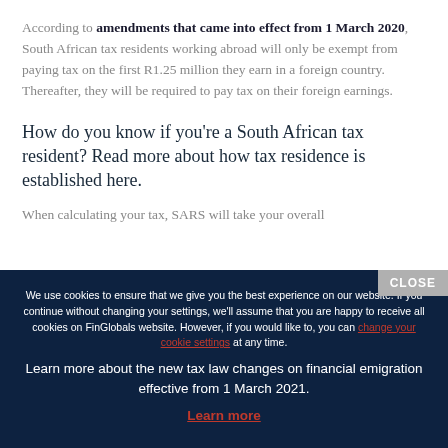According to amendments that came into effect from 1 March 2020, South African tax residents working abroad will only be exempt from paying tax on the first R1.25 million they earn in a foreign country. Thereafter, they will be required to pay tax on their foreign earnings.
How do you know if you're a South African tax resident? Read more about how tax residence is established here.
When calculating your tax, SARS will take your overall
We use cookies to ensure that we give you the best experience on our website. If you continue without changing your settings, we'll assume that you are happy to receive all cookies on FinGlobals website. However, if you would like to, you can change your cookie settings at any time.
Learn more about the new tax law changes on financial emigration effective from 1 March 2021.
Learn more